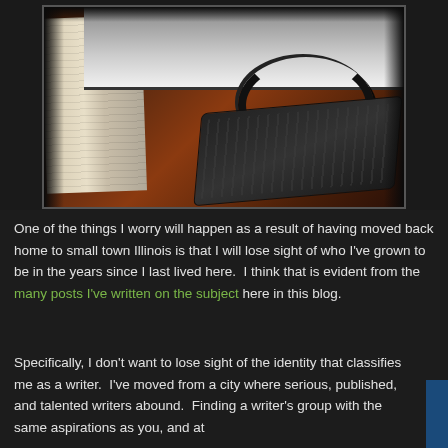[Figure (photo): Photo of a desk with a dark keyboard, papers/book on the left, monitor at top, cables, on a dark red/brown desk surface]
One of the things I worry will happen as a result of having moved back home to small town Illinois is that I will lose sight of who I've grown to be in the years since I last lived here.  I think that is evident from the many posts I've written on the subject here in this blog.
Specifically, I don't want to lose sight of the identity that classifies me as a writer.  I've moved from a city where serious, published, and talented writers abound.  Finding a writer's group with the same aspirations as you, and at